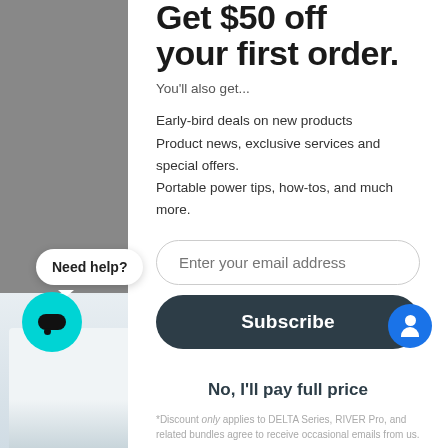Get $50 off your first order.
You'll also get...
Early-bird deals on new products
Product news, exclusive services and special offers.
Portable power tips, how-tos, and much more.
Enter your email address
Subscribe
No, I'll pay full price
*Discount only applies to DELTA Series, RIVER Pro, and related bundles agree to receive occasional emails from us.
Need help?
[Figure (photo): Bottom portion of a portable power station device with ventilation grilles, shown at the base of the page]